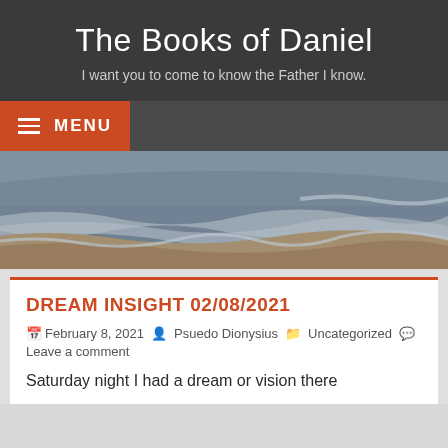The Books of Daniel
I want you to come to know the Father I know.
[Figure (screenshot): Orange menu button with hamburger icon and MENU text]
[Figure (photo): Beach scene with ocean waves washing onto sandy shore, sunset or dawn light]
DREAM INSIGHT 02/08/2021
February 8, 2021  Psuedo Dionysius  Uncategorized  Leave a comment
Saturday night I had a dream or vision there